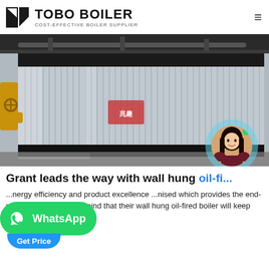TOBO BOILER — COST-EFFECTIVE BOILER SUPPLIER
[Figure (photo): Industrial boiler unit with corrugated metal cladding, yellow pipework visible on left side, inside a factory building.]
Grant leads the way with wall hung oil-fired boilers
…energy efficiency and product excellence …nised which provides the end-user with the peace of mind that their wall hung oil-fired boiler will keep their home warm